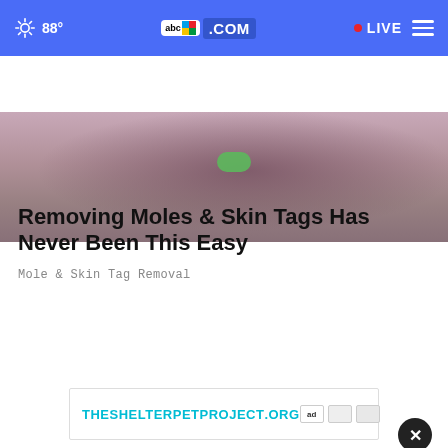88° abc4.com • LIVE
[Figure (photo): Close-up of hands holding a green oval object, person wearing a white polka-dot blouse]
Removing Moles & Skin Tags Has Never Been This Easy
Mole & Skin Tag Removal
[Figure (photo): Close-up photo of a person wearing white pants and white slip-on sneakers with gold trim and dotted pattern, standing on pavement]
THESHELTERPETPROJECT.ORG